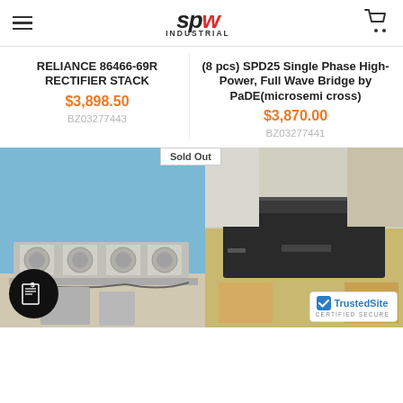SPW Industrial
RELIANCE 86466-69R RECTIFIER STACK
$3,898.50
BZ03277443
(8 pcs) SPD25 Single Phase High-Power, Full Wave Bridge by PaDE(microsemi cross)
$3,870.00
BZ03277441
[Figure (photo): Industrial rectifier stack with multiple fan units on a shelf, blue background. Sold Out badge visible.]
[Figure (photo): Black industrial electronic unit in cardboard box packaging.]
TrustedSite CERTIFIED SECURE